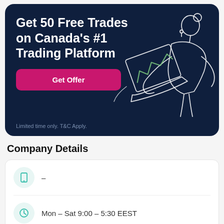Get 50 Free Trades on Canada's #1 Trading Platform
Get Offer
Limited time only. T&C Apply.
Company Details
–
Mon – Sat 9:00 – 5:30 EEST